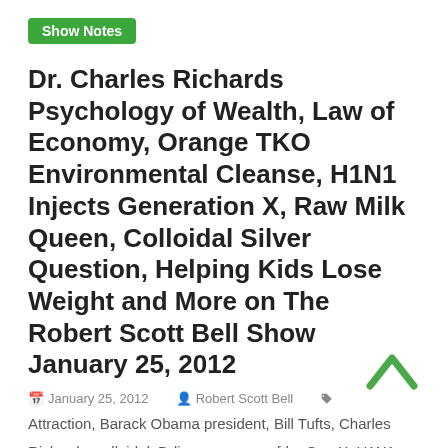Show Notes
Dr. Charles Richards Psychology of Wealth, Law of Economy, Orange TKO Environmental Cleanse, H1N1 Injects Generation X, Raw Milk Queen, Colloidal Silver Question, Helping Kids Lose Weight and More on The Robert Scott Bell Show January 25, 2012
January 25, 2012   Robert Scott Bell   Attraction, Barack Obama president, Bill Tufts, Charles Richards, colloidal, D-limonene, epa, fda, Gen X, H1N1, Health Canada, Law of Economy, Leroy 12 Conversion Disorder, Orange TKO, Paula Deen, Psychology of Wealth, Raw Milk Queen, Ron Paul, silver hydrosol, State of the Union, success, Vaccine Bubble
Is President Obama now a prescription drug? Yesterday's